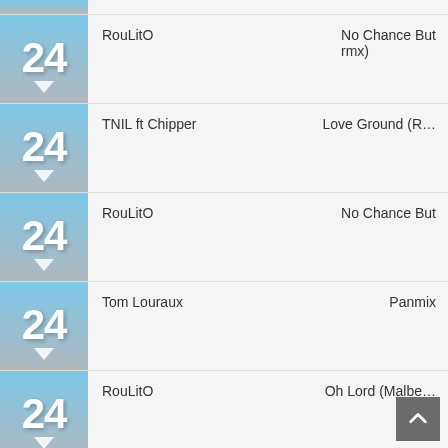RouLitO — No Chance But (rmx)
TNIL ft Chipper — Love Ground (R…)
RouLitO — No Chance But
Tom Louraux — Panmix
RouLitO — Oh Lord (Malbe…)